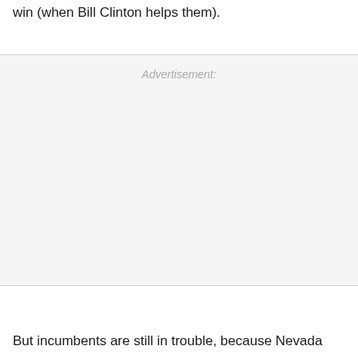win (when Bill Clinton helps them).
Advertisement:
But incumbents are still in trouble, because Nevada